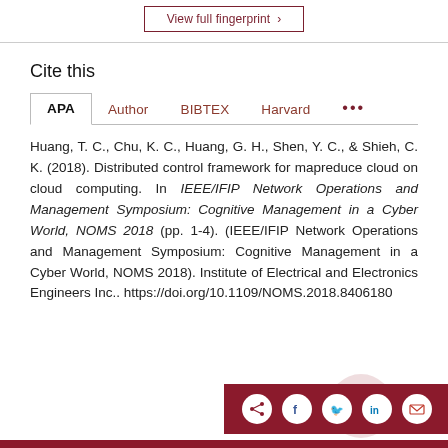[Figure (other): View full fingerprint button with dark red border]
Cite this
APA | Author | BIBTEX | Harvard | ...
Huang, T. C., Chu, K. C., Huang, G. H., Shen, Y. C., & Shieh, C. K. (2018). Distributed control framework for mapreduce cloud on cloud computing. In IEEE/IFIP Network Operations and Management Symposium: Cognitive Management in a Cyber World, NOMS 2018 (pp. 1-4). (IEEE/IFIP Network Operations and Management Symposium: Cognitive Management in a Cyber World, NOMS 2018). Institute of Electrical and Electronics Engineers Inc.. https://doi.org/10.1109/NOMS.2018.8406180